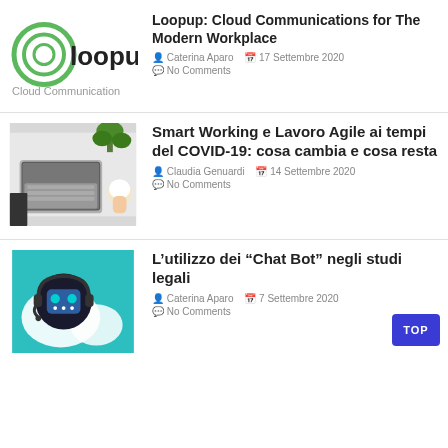[Figure (logo): Loopup logo with circular green icon and 'loopup' text, tagline 'Cloud Communication']
Loopup: Cloud Communications for The Modern Workplace
Caterina Aparo  17 Settembre 2020
No Comments
[Figure (photo): Top-down view of laptop on desk with plant and coffee cup]
Smart Working e Lavoro Agile ai tempi del COVID-19: cosa cambia e cosa resta
Claudia Genuardi  14 Settembre 2020
No Comments
[Figure (illustration): Teal background with robot chatbot wearing headset and speech bubbles]
L'utilizzo dei “Chat Bot” negli studi legali
Caterina Aparo  7 Settembre 2020
No Comments